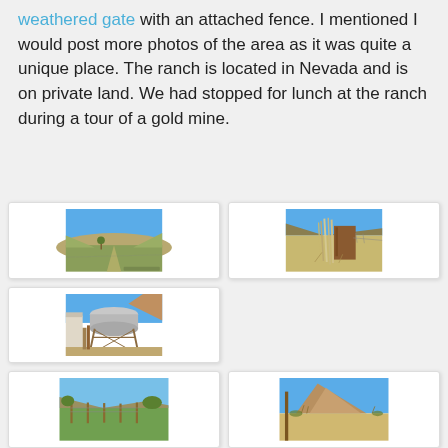weathered gate with an attached fence. I mentioned I would post more photos of the area as it was quite a unique place. The ranch is located in Nevada and is on private land. We had stopped for lunch at the ranch during a tour of a gold mine.
[Figure (photo): Wide landscape view of a valley with dry grass and a lone tree under a clear blue sky, Nevada ranch area]
[Figure (photo): Close-up of a weathered wooden gate with tall dry sticks/branches leaning against it, attached fence visible in background]
[Figure (photo): Ranch outbuilding with a large cylindrical metal tank on a wooden scaffold structure, wooden fence and building wall visible]
[Figure (photo): Green pasture area with wooden fence posts, hills in background, Nevada ranch]
[Figure (photo): Rocky hill or butte under blue sky with some dry vegetation at base, Nevada landscape]